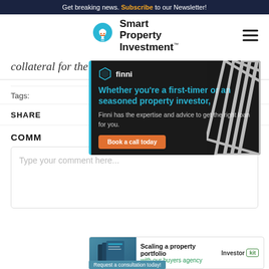Get breaking news. Subscribe to our Newsletter!
[Figure (logo): Smart Property Investment logo with lightbulb icon]
collateral for the loan.
Tags:
SHARE
COMM... Add New
[Figure (infographic): Finni advertisement: Whether you're a first-timer or an seasoned property investor, Finni has the expertise and advice to get the right loan for you. Book a call today.]
Type your comment here...
[Figure (infographic): Investor Kit ad: Scaling a property portfolio with our buyers agency. Request a consultation today!]